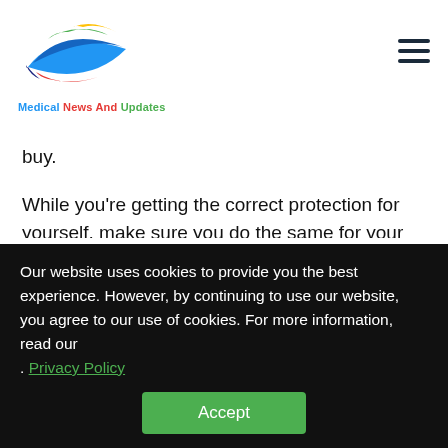[Figure (logo): Medical News And Updates website logo — colorful swoosh/fish-eye shape in blue, green, yellow, red colors with text 'Medical News And Updates' below]
buy.
While you're getting the correct protection for yourself, make sure you do the same for your children.
“If we can get kids in the habit of [wearing sunglasses]
Our website uses cookies to provide you the best experience. However, by continuing to use our website, you agree to our use of cookies. For more information, read our . Privacy Policy
Accept